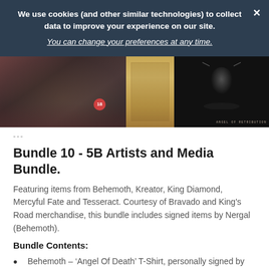We use cookies (and other similar technologies) to collect data to improve your experience on our site. You can change your preferences at any time.
[Figure (photo): Three photos side by side on a dark background: left shows a concert arena view with a red circular badge, middle shows a wooden shelf/box, right shows a dark album cover with a figure and text 'ANGEL OF RETRIBUTION']
---
Bundle 10 - 5B Artists and Media Bundle.
Featuring items from Behemoth, Kreator, King Diamond, Mercyful Fate and Tesseract. Courtesy of Bravado and King's Road merchandise, this bundle includes signed items by Nergal (Behemoth).
Bundle Contents:
Behemoth – 'Angel Of Death' T-Shirt, personally signed by Nergal
Behemoth – I Loved You At Your Darkest Digi-Book,